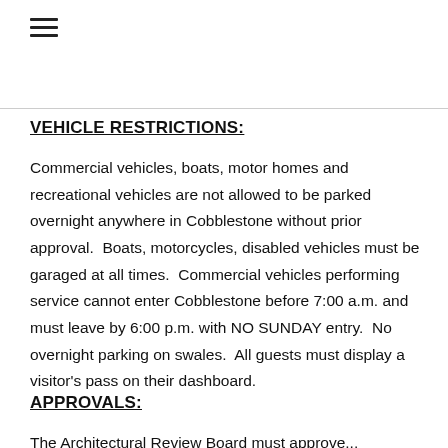VEHICLE RESTRICTIONS:
Commercial vehicles, boats, motor homes and recreational vehicles are not allowed to be parked overnight anywhere in Cobblestone without prior approval.  Boats, motorcycles, disabled vehicles must be garaged at all times.  Commercial vehicles performing service cannot enter Cobblestone before 7:00 a.m. and must leave by 6:00 p.m. with NO SUNDAY entry.  No overnight parking on swales.  All guests must display a visitor's pass on their dashboard.
APPROVALS: